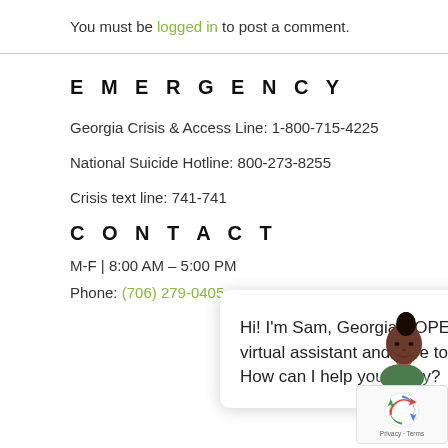You must be logged in to post a comment.
EMERGENCY
Georgia Crisis & Access Line: 1-800-715-4225
National Suicide Hotline: 800-273-8255
Crisis text line: 741-741
[Figure (screenshot): Chat popup with text: Hi! I'm Sam, Georgia HOPE's virtual assistant and here to help. How can I help you today? with a close (X) button and an avatar illustration of a woman.]
CONTACT
M-F | 8:00 AM – 5:00 PM
Phone: (706) 279-0405